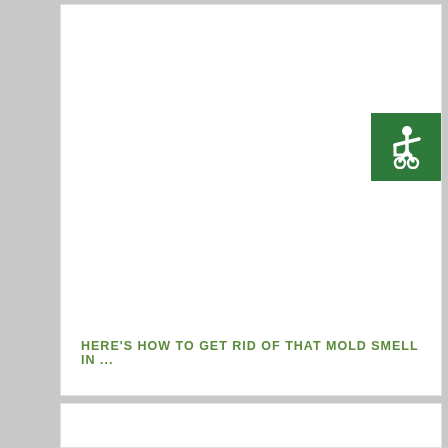[Figure (logo): Accessibility icon (wheelchair symbol) in white on dark green square background, positioned top-right of the card]
HERE'S HOW TO GET RID OF THAT MOLD SMELL IN ...